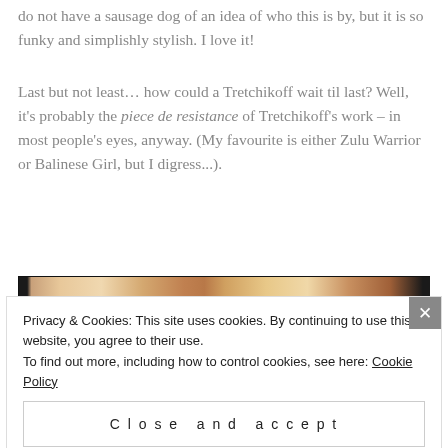do not have a sausage dog of an idea of who this is by, but it is so funky and simplishly stylish. I love it!
Last but not least… how could a Tretchikoff wait til last? Well, it's probably the piece de resistance of Tretchikoff's work – in most people's eyes, anyway. (My favourite is either Zulu Warrior or Balinese Girl, but I digress...).
[Figure (photo): Partial view of a painting, showing warm brown and tan tones — likely a Tretchikoff artwork. A colorful horizontal bar (red, black, red) is visible at the very bottom.]
Privacy & Cookies: This site uses cookies. By continuing to use this website, you agree to their use.
To find out more, including how to control cookies, see here: Cookie Policy
Close and accept